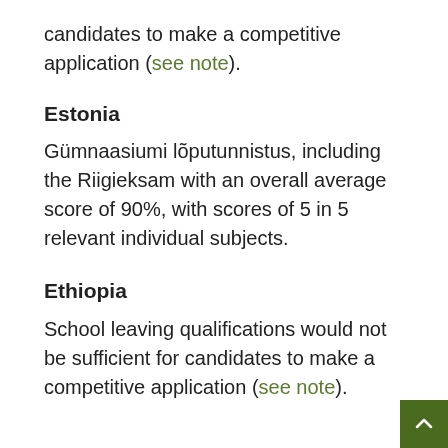candidates to make a competitive application (see note).
Estonia
Gümnaasiumi lõputunnistus, including the Riigieksam with an overall average score of 90%, with scores of 5 in 5 relevant individual subjects.
Ethiopia
School leaving qualifications would not be sufficient for candidates to make a competitive application (see note).